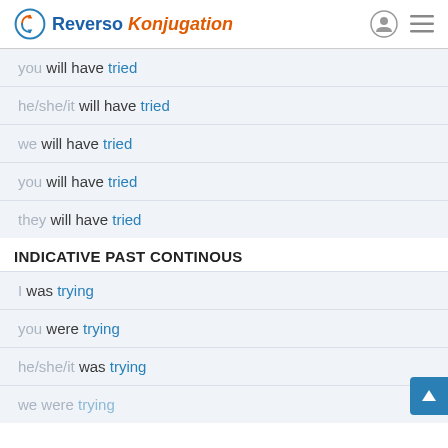Reverso Konjugation
you will have tried
he/she/it will have tried
we will have tried
you will have tried
they will have tried
INDICATIVE PAST CONTINOUS
I was trying
you were trying
he/she/it was trying
we were trying